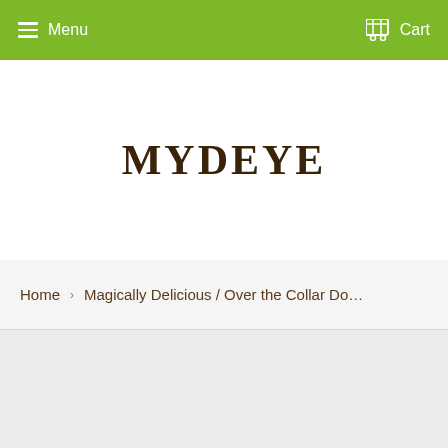Menu  Cart
MYDEYE
Home › Magically Delicious / Over the Collar Do…